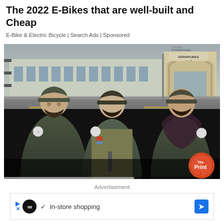The 2022 E-Bikes that are well-built and Cheap
E-Bike & Electric Bicycle | Search Ads | Sponsored
[Figure (photo): Three armed men in camouflage military uniforms and caps standing in front of an airport departures terminal building. A logo for 'The Print' news outlet appears in the bottom right corner of the image.]
Advertisement
In-store shopping